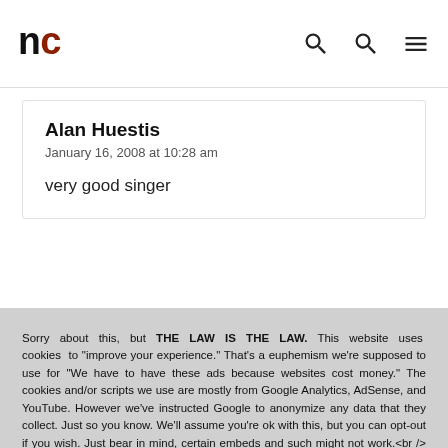nc
Alan Huestis
January 16, 2008 at 10:28 am
very good singer
Sorry about this, but THE LAW IS THE LAW. This website uses cookies to "improve your experience." That's a euphemism we're supposed to use for "We have to have these ads because websites cost money." The cookies and/or scripts we use are mostly from Google Analytics, AdSense, and YouTube. However we've instructed Google to anonymize any data that they collect. Just so you know. We'll assume you're ok with this, but you can opt-out if you wish. Just bear in mind, certain embeds and such might not work.<br /> <br /> Also, please be aware that when we link out to products, we may earn a commission for doing so. Because we're certainly not doing it for our health. See our privacy policy & terms of use for more info than you would ever want to know. – Privacy Policy & Terms of Use